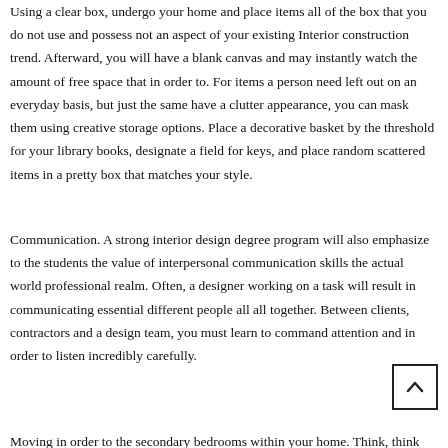Using a clear box, undergo your home and place items all of the box that you do not use and possess not an aspect of your existing Interior construction trend. Afterward, you will have a blank canvas and may instantly watch the amount of free space that in order to. For items a person need left out on an everyday basis, but just the same have a clutter appearance, you can mask them using creative storage options. Place a decorative basket by the threshold for your library books, designate a field for keys, and place random scattered items in a pretty box that matches your style.
Communication. A strong interior design degree program will also emphasize to the students the value of interpersonal communication skills the actual world professional realm. Often, a designer working on a task will result in communicating essential different people all all together. Between clients, contractors and a design team, you must learn to command attention and in order to listen incredibly carefully.
Moving in order to the secondary bedrooms within your home. Think, think